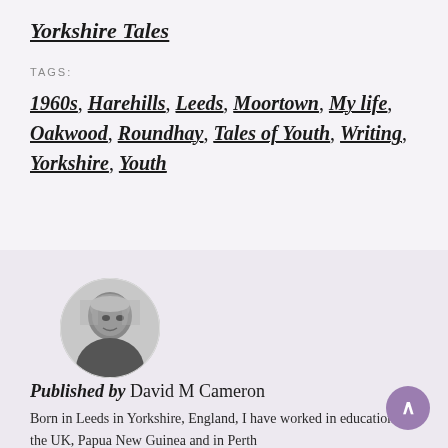Yorkshire Tales
TAGS:
1960s, Harehills, Leeds, Moortown, My life, Oakwood, Roundhay, Tales of Youth, Writing, Yorkshire, Youth
[Figure (photo): Circular black and white portrait photo of a bald middle-aged man looking slightly downward]
Published by David M Cameron
Born in Leeds in Yorkshire, England, I have worked in education in the UK, Papua New Guinea and in Perth